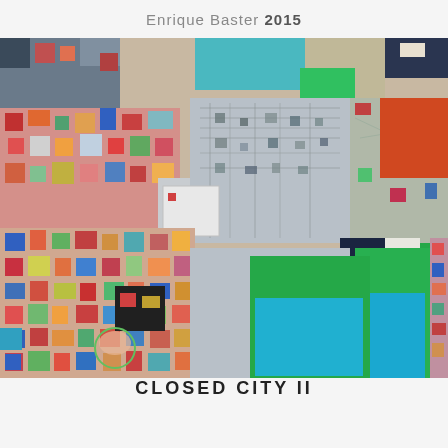Enrique Baster 2015
[Figure (photo): Detail of a large colorful abstract painting composed of many small colored rectangles and squares in a mosaic/grid pattern. Features bright colors including red, green, teal, blue, orange, yellow, pink, with a prominent large green rectangle in the lower right and a large teal/blue square inset within it. Center area contains a grayish-white zone with fine linear detail. Lower left area has dense small colorful squares.]
CLOSED CITY II